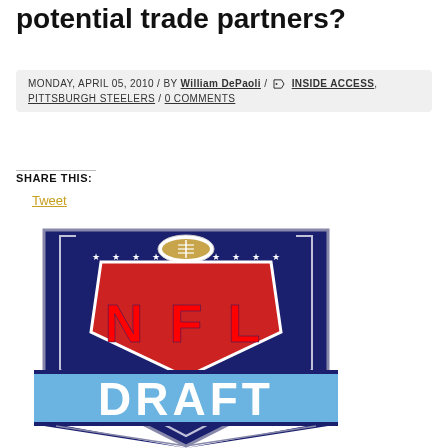potential trade partners?
MONDAY, APRIL 05, 2010 / BY William DePaoli / / INSIDE ACCESS, PITTSBURGH STEELERS / 0 COMMENTS
SHARE THIS:
Tweet
[Figure (logo): NFL Draft logo — navy blue shield with white stars and football at top, red NFL letters on shield, light blue banner reading DRAFT in white block letters]